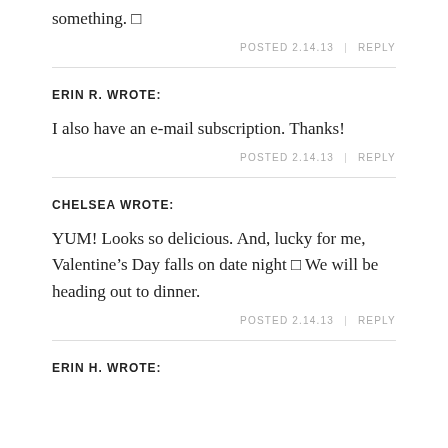something. 🔲
POSTED 2.14.13  |  REPLY
ERIN R. WROTE:
I also have an e-mail subscription. Thanks!
POSTED 2.14.13  |  REPLY
CHELSEA WROTE:
YUM! Looks so delicious. And, lucky for me, Valentine's Day falls on date night 🔲 We will be heading out to dinner.
POSTED 2.14.13  |  REPLY
ERIN H. WROTE: